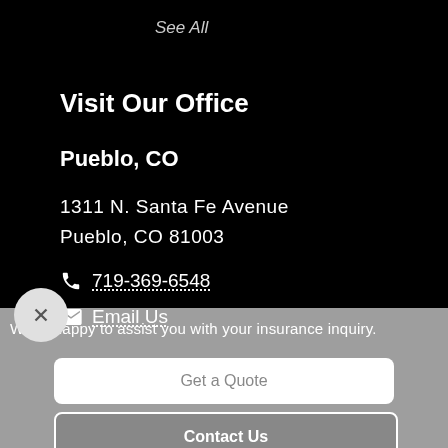See All
Visit Our Office
Pueblo, CO
1311 N. Santa Fe Avenue
Pueblo, CO 81003
719-369-6548
Email Us
We're happy to assist you with your insurance inquiry.
Get a Quote
Contact Us